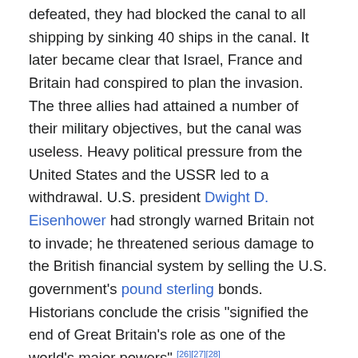defeated, they had blocked the canal to all shipping by sinking 40 ships in the canal. It later became clear that Israel, France and Britain had conspired to plan the invasion. The three allies had attained a number of their military objectives, but the canal was useless. Heavy political pressure from the United States and the USSR led to a withdrawal. U.S. president Dwight D. Eisenhower had strongly warned Britain not to invade; he threatened serious damage to the British financial system by selling the U.S. government's pound sterling bonds. Historians conclude the crisis "signified the end of Great Britain's role as one of the world's major powers".[26][27][28]
The Suez Canal was closed from October 1956 until March 1957. Israel fulfilled some of its objectives, such as attaining freedom of navigation through the Straits of Tiran, which Egypt had blocked to Israeli shipping since